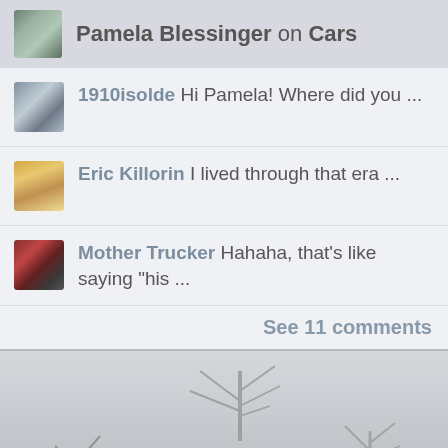Pamela Blessinger on Cars
1910isolde Hi Pamela! Where did you ...
Eric Killorin I lived through that era ...
Mother Trucker Hahaha, that's like saying "his ..."
See 11 comments
[Figure (photo): Partial view of a silver/grey car with trees in the background, grey sky]